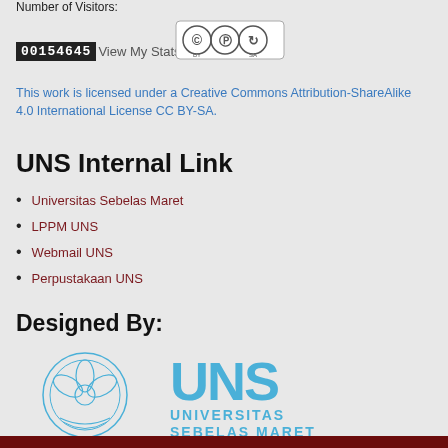Number of Visitors:
00154645 View My Stats
[Figure (logo): Creative Commons CC BY-SA license badge]
This work is licensed under a Creative Commons Attribution-ShareAlike 4.0 International License CC BY-SA.
UNS Internal Link
Universitas Sebelas Maret
LPPM UNS
Webmail UNS
Perpustakaan UNS
Designed By:
[Figure (logo): Universitas Sebelas Maret (UNS) logo with circular emblem and UNS text in blue]